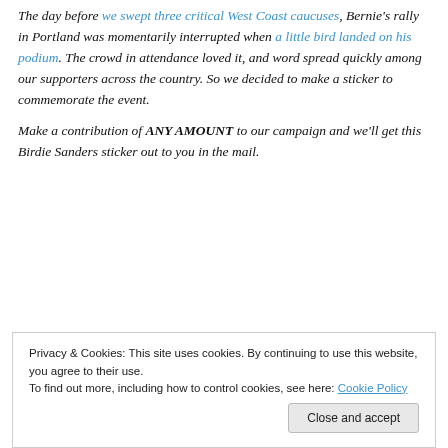The day before we swept three critical West Coast caucuses, Bernie's rally in Portland was momentarily interrupted when a little bird landed on his podium. The crowd in attendance loved it, and word spread quickly among our supporters across the country. So we decided to make a sticker to commemorate the event.

Make a contribution of ANY AMOUNT to our campaign and we'll get this Birdie Sanders sticker out to you in the mail.
Privacy & Cookies: This site uses cookies. By continuing to use this website, you agree to their use.
To find out more, including how to control cookies, see here: Cookie Policy